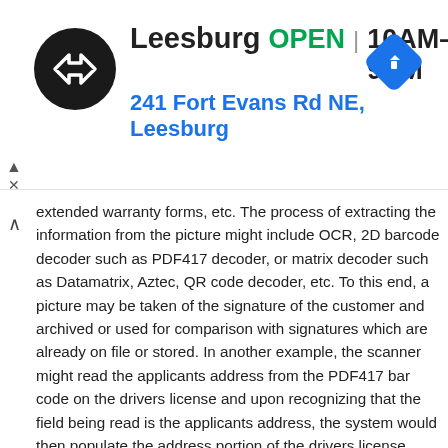[Figure (infographic): Advertisement banner for Best Buy Leesburg store showing store logo (black circle with white arrows), store name 'Leesburg', status 'OPEN', hours '10AM–9PM', address '241 Fort Evans Rd NE, Leesburg', and a blue navigation diamond icon]
extended warranty forms, etc. The process of extracting the information from the picture might include OCR, 2D barcode decoder such as PDF417 decoder, or matrix decoder such as Datamatrix, Aztec, QR code decoder, etc. To this end, a picture may be taken of the signature of the customer and archived or used for comparison with signatures which are already on file or stored. In another example, the scanner might read the applicants address from the PDF417 bar code on the drivers license and upon recognizing that the field being read is the applicants address, the system would then populate the address portion of the drivers license form automatically onto another application, such as an application or form for a hunting license, fishing license, firearms license, employment application, credit application, etc. Similarly the applicants date of birth, sex, and eye color could be filled in. Such a system would be more convenient while at the same time reducing application time and reducing application error rate because of incorrectly transcribed information. At the same time the scanner could be automatically changed to a picture taking mode, signal the operator to aim the scanner at the applicant, the drivers license, an article for purchase or rent, etc. and then take a picture. This picture could